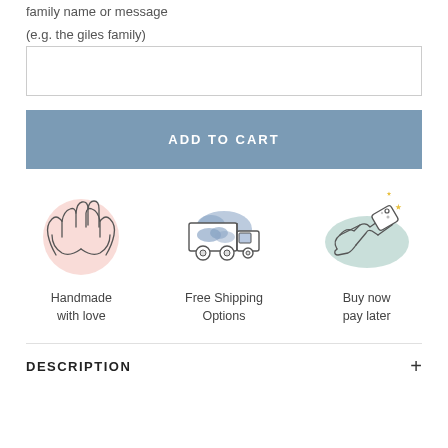family name or message
(e.g. the giles family)
ADD TO CART
[Figure (illustration): Hands making a heart shape with pink circular background — handmade with love icon]
Handmade with love
[Figure (illustration): Delivery truck with blue cloud shapes in cargo area — free shipping options icon]
Free Shipping Options
[Figure (illustration): Hand holding a price tag with sparkles on teal background — buy now pay later icon]
Buy now pay later
DESCRIPTION